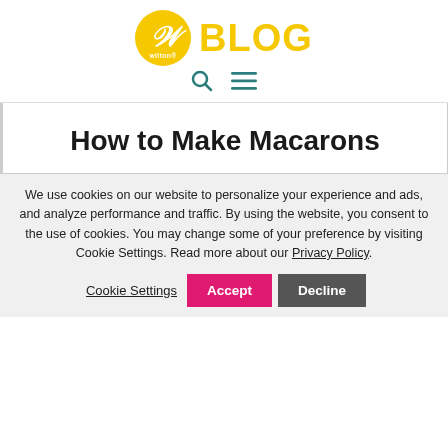[Figure (logo): Wilton Blog logo: yellow circle with stylized W and 'wilton' text, followed by bold yellow 'BLOG' text]
How to Make Macarons
We use cookies on our website to personalize your experience and ads, and analyze performance and traffic. By using the website, you consent to the use of cookies. You may change some of your preference by visiting Cookie Settings. Read more about our Privacy Policy.
Cookie Settings | Accept | Decline